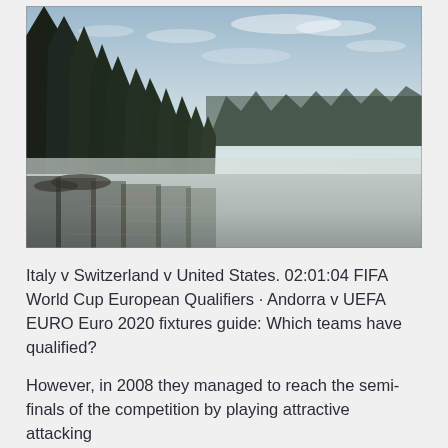[Figure (photo): A misty lake scene at dusk or dawn with dark conifer trees on the left and a treeline reflected in the still water, soft pastel sky with light clouds.]
Italy v Switzerland v United States. 02:01:04 FIFA World Cup European Qualifiers · Andorra v UEFA EURO Euro 2020 fixtures guide: Which teams have qualified?
However, in 2008 they managed to reach the semi-finals of the competition by playing attractive attacking